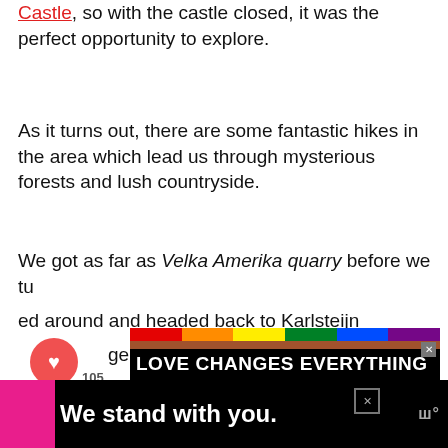Castle, so with the castle closed, it was the perfect opportunity to explore.
As it turns out, there are some fantastic hikes in the area which lead us through mysterious forests and lush countryside.
We got as far as Velka Amerika quarry before we turned around and headed back to Karlsteijn village.
[Figure (infographic): Social media widget showing heart/like button with count 105 and share button]
[Figure (infographic): Ad banner: LOVE CHANGES EVERYTHING with rainbow stripes, COMPASSION CHARITY BELONGING text]
[Figure (infographic): What's Next section: 2 Days in Prague - The... with circular thumbnail]
[Figure (infographic): Bottom ad banner: We stand with you. in white bold text on black background with pink accent and close button]